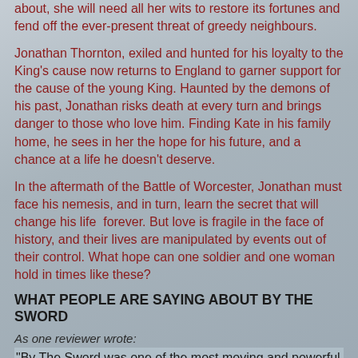about, she will need all her wits to restore its fortunes and fend off the ever-present threat of greedy neighbours.
Jonathan Thornton, exiled and hunted for his loyalty to the King's cause now returns to England to garner support for the cause of the young King. Haunted by the demons of his past, Jonathan risks death at every turn and brings danger to those who love him. Finding Kate in his family home, he sees in her the hope for his future, and a chance at a life he doesn't deserve.
In the aftermath of the Battle of Worcester, Jonathan must face his nemesis, and in turn, learn the secret that will change his life  forever. But love is fragile in the face of history, and their lives are manipulated by events out of their control. What hope can one soldier and one woman hold in times like these?
WHAT PEOPLE ARE SAYING ABOUT BY THE SWORD
As one reviewer wrote:
"By The Sword was one of the most moving and powerful